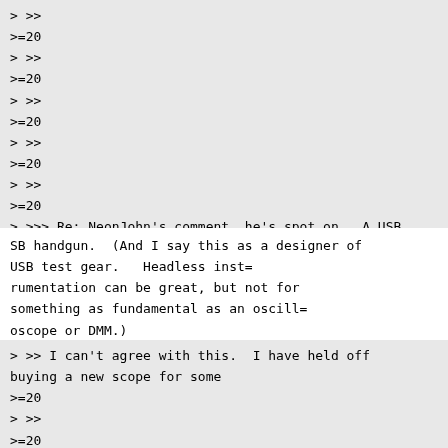> >>
>=20
> >>
>=20
> >>
>=20
> >>
>=20
> >>
>=20
> >>> Re: NeonJohn's comment, he's spot on.  A USB oscilloscope is like a U=
SB handgun.  (And I say this as a designer of USB test gear.  Headless inst=
rumentation can be great, but not for something as fundamental as an oscill=
oscope or DMM.)
> >> I can't agree with this.  I have held off buying a new scope for some
>=20
> >>
>=20
> >> time now while I continue to look for a good inexpensive mixed signal
>=20